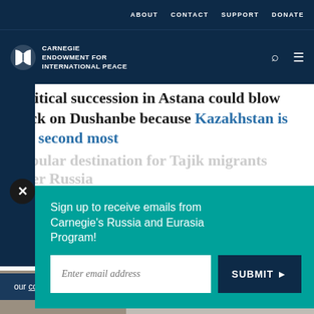ABOUT   CONTACT   SUPPORT   DONATE
[Figure (logo): Carnegie Endowment for International Peace logo — white circle/book icon with white text on dark navy background]
political succession in Astana could blow back on Dushanbe because Kazakhstan is the second most popular destination for Tajik migrants after Russia
[Figure (screenshot): Email signup popup overlay with teal background: 'Sign up to receive emails from Carnegie's Russia and Eurasia Program!' with email input field and dark navy SUBMIT button]
our cookie policy.
Print | Share | Facebook | Twitter | WhatsApp | Messenger | LinkedIn social sharing icons